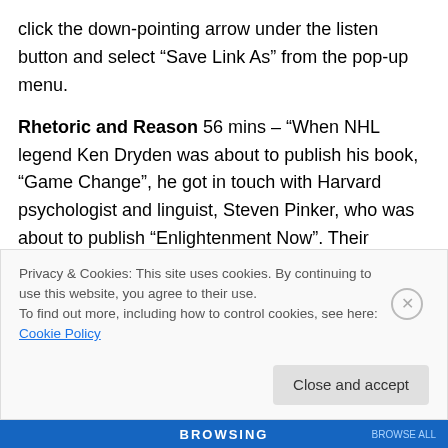click the down-pointing arrow under the listen button and select “Save Link As” from the pop-up menu.
Rhetoric and Reason 56 mins – “When NHL legend Ken Dryden was about to publish his book, “Game Change”, he got in touch with Harvard psychologist and linguist, Steven Pinker, who was about to publish “Enlightenment Now”. Their common ground: what does it actually take to change someone’s mind? The two talk to Paul Kennedy about the relationship of rhetoric and reason.” At the link find the title, “Steven Pinker and Ken Dryden: “Where
Privacy & Cookies: This site uses cookies. By continuing to use this website, you agree to their use. To find out more, including how to control cookies, see here: Cookie Policy
Close and accept